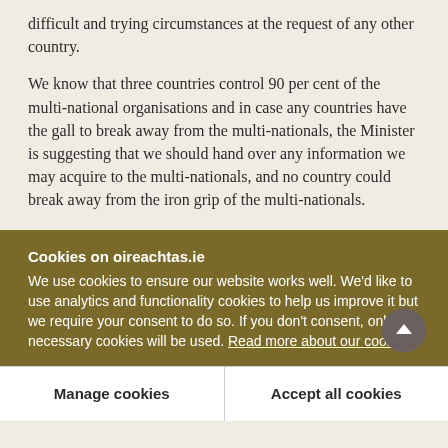difficult and trying circumstances at the request of any other country.
We know that three countries control 90 per cent of the multi-national organisations and in case any countries have the gall to break away from the multi-nationals, the Minister is suggesting that we should hand over any information we may acquire to the multi-nationals, and no country could break away from the iron grip of the multi-nationals.
Cookies on oireachtas.ie
We use cookies to ensure our website works well. We'd like to use analytics and functionality cookies to help us improve it but we require your consent to do so. If you don't consent, only necessary cookies will be used. Read more about our cookies
Manage cookies
Accept all cookies